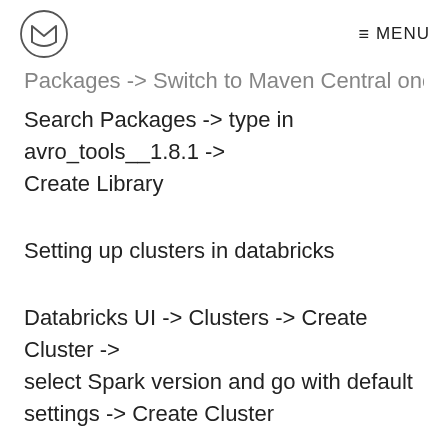≡ MENU
Packages -> Switch to Maven Central once in
Search Packages -> type in avro_tools__1.8.1 -> Create Library
Setting up clusters in databricks
Databricks UI -> Clusters -> Create Cluster -> select Spark version and go with default settings -> Create Cluster
Loading data into tables in databricks